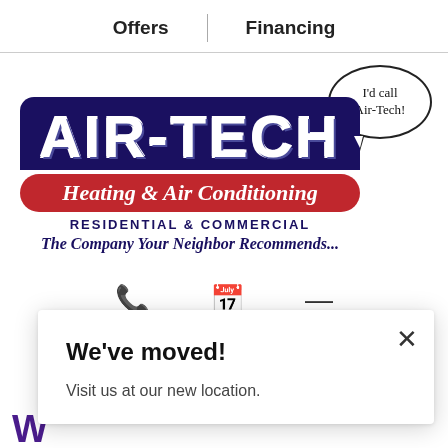Offers | Financing
[Figure (logo): Air-Tech Heating & Air Conditioning logo with speech bubble saying 'I'd call Air-Tech!'. Logo shows bold navy 'AIR-TECH' text on dark navy background, a red oval band reading 'Heating & Air Conditioning', subtitle 'RESIDENTIAL & COMMERCIAL', and tagline 'The Company Your Neighbor Recommends...']
We've moved!
Visit us at our new location.